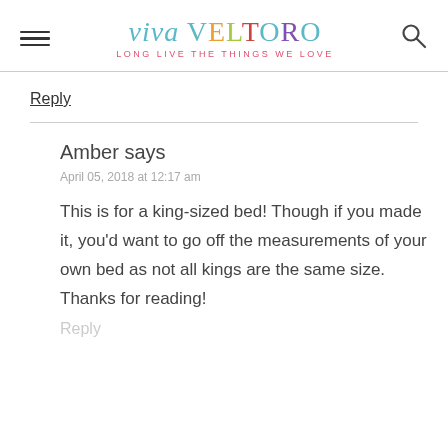viva VELTORO — LONG LIVE THE THINGS WE LOVE
Reply
Amber says
April 05, 2018 at 12:17 am
This is for a king-sized bed! Though if you made it, you'd want to go off the measurements of your own bed as not all kings are the same size. Thanks for reading!
Reply